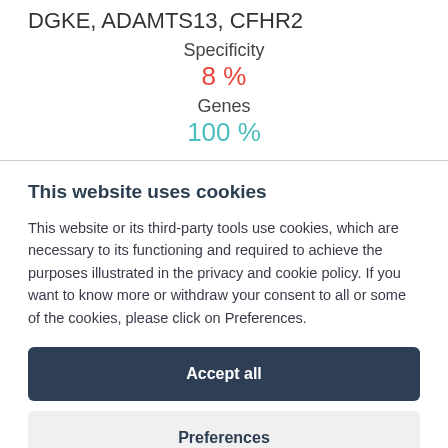DGKE, ADAMTS13, CFHR2
Specificity
8 %
Genes
100 %
This website uses cookies
This website or its third-party tools use cookies, which are necessary to its functioning and required to achieve the purposes illustrated in the privacy and cookie policy. If you want to know more or withdraw your consent to all or some of the cookies, please click on Preferences.
Accept all
Preferences